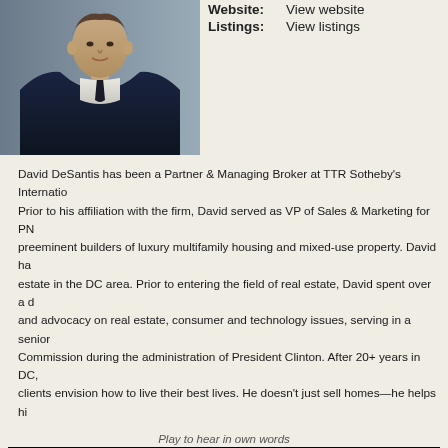[Figure (photo): Professional headshot of David DeSantis wearing a dark navy suit with white shirt, cropped at chest level]
Website: View website
Listings: View listings
David DeSantis has been a Partner & Managing Broker at TTR Sotheby's International. Prior to his affiliation with the firm, David served as VP of Sales & Marketing for PN preeminent builders of luxury multifamily housing and mixed-use property. David has estate in the DC area. Prior to entering the field of real estate, David spent over a d and advocacy on real estate, consumer and technology issues, serving in a senior Commission during the administration of President Clinton. After 20+ years in DC, clients envision how to live their best lives. He doesn't just sell homes—he helps hi
Play to hear in own words
[Figure (screenshot): YouTube video thumbnail for 'Meet Dave DeSantis - Home In Collective' showing a man with a YouTube play button overlay and the Home In Collective logo (orange circle with house/person icon)]